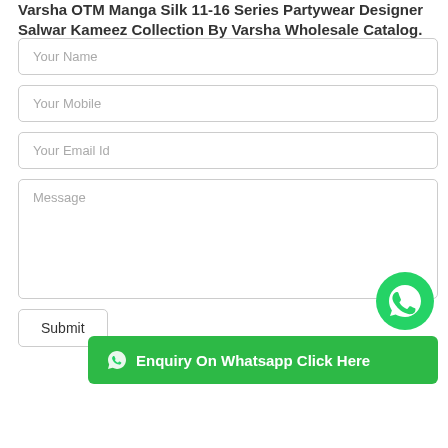Varsha OTM Manga Silk 11-16 Series Partywear Designer Salwar Kameez Collection By Varsha Wholesale Catalog.
Your Name
Your Mobile
Your Email Id
Message
Submit
[Figure (logo): WhatsApp floating icon button (green circle with white phone handset and speech bubble)]
Enquiry On Whatsapp Click Here